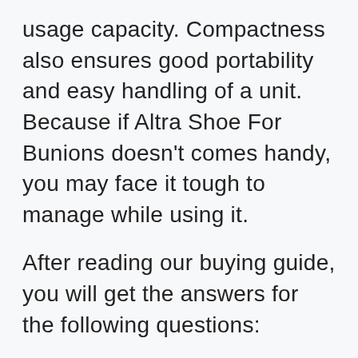usage capacity. Compactness also ensures good portability and easy handling of a unit. Because if Altra Shoe For Bunions doesn't comes handy, you may face it tough to manage while using it.
After reading our buying guide, you will get the answers for the following questions:
How much does the best Altra Shoe For Bunions costs?
What are the benefits of a Altra Shoe For Bunions?